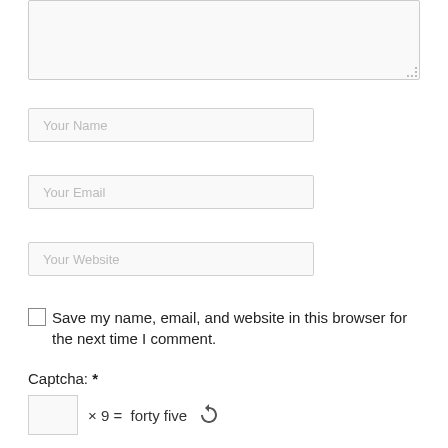[Figure (screenshot): Textarea input box (comment field), partially visible at top of page]
Your Name
Your Email
Your Website
Save my name, email, and website in this browser for the next time I comment.
Captcha: *
× 9 = forty five